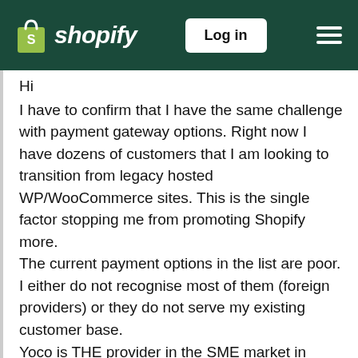Shopify — Log in
Hi
I have to confirm that I have the same challenge with payment gateway options. Right now I have dozens of customers that I am looking to transition from legacy hosted WP/WooCommerce sites. This is the single factor stopping me from promoting Shopify more.
The current payment options in the list are poor. I either do not recognise most of them (foreign providers) or they do not serve my existing customer base.
Yoco is THE provider in the SME market in South African and almost every customer uses their in-store devices and has requested their online payment gateway be used too. Their client base